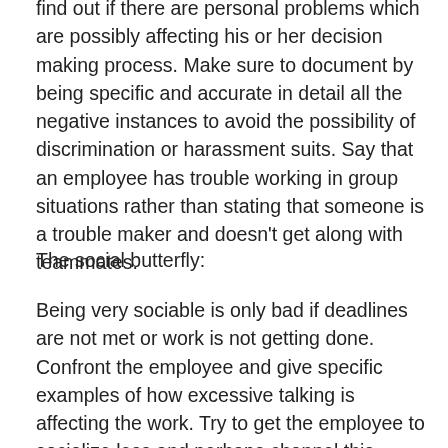find out if there are personal problems which are possibly affecting his or her decision making process. Make sure to document by being specific and accurate in detail all the negative instances to avoid the possibility of discrimination or harassment suits. Say that an employee has trouble working in group situations rather than stating that someone is a trouble maker and doesn't get along with teammates.
The social butterfly:
Being very sociable is only bad if deadlines are not met or work is not getting done. Confront the employee and give specific examples of how excessive talking is affecting the work. Try to get the employee to socialize less and perhaps channel this sociability by letting him or her spend time on social events for the office such as planning office parties or leading a welcoming committee for new...